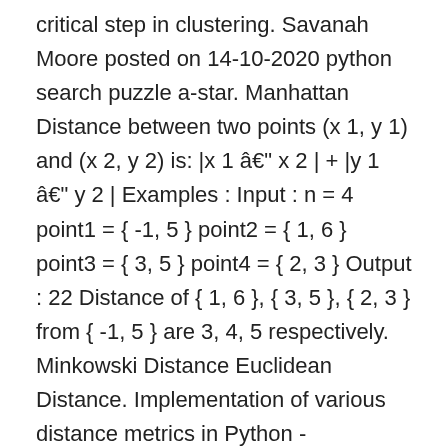critical step in clustering. Savanah Moore posted on 14-10-2020 python search puzzle a-star. Manhattan Distance between two points (x 1, y 1) and (x 2, y 2) is: |x 1 â x 2 | + |y 1 â y 2 | Examples : Input : n = 4 point1 = { -1, 5 } point2 = { 1, 6 } point3 = { 3, 5 } point4 = { 2, 3 } Output : 22 Distance of { 1, 6 }, { 3, 5 }, { 2, 3 } from { -1, 5 } are 3, 4, 5 respectively. Minkowski Distance Euclidean Distance. Implementation of various distance metrics in Python - DistanceMetrics.py. Posted in Computer Science, Python - Intermediate, Python Challenges. Report. It is the sum of the lengths of the projections of the line segment between the points onto the coordinate axes. straight-line) distance between